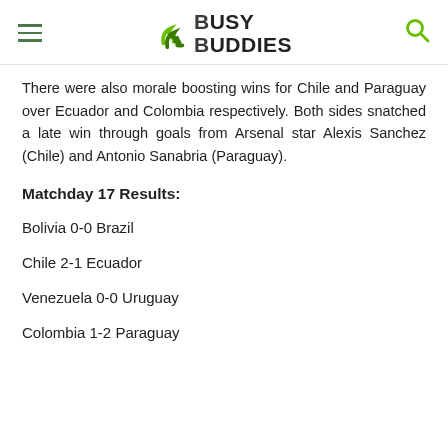Busy Buddies
There were also morale boosting wins for Chile and Paraguay over Ecuador and Colombia respectively. Both sides snatched a late win through goals from Arsenal star Alexis Sanchez (Chile) and Antonio Sanabria (Paraguay).
Matchday 17 Results:
Bolivia 0-0 Brazil
Chile 2-1 Ecuador
Venezuela 0-0 Uruguay
Colombia 1-2 Paraguay